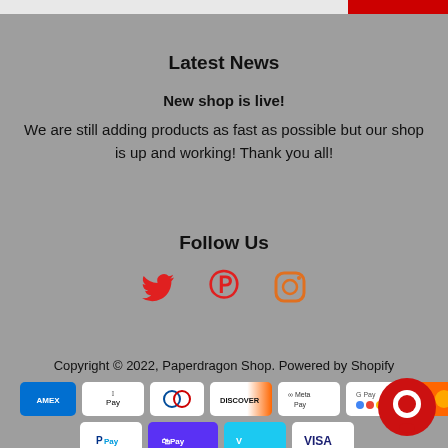Latest News
New shop is live!
We are still adding products as fast as possible but our shop is up and working! Thank you all!
Follow Us
[Figure (infographic): Three social media icons: Twitter (bird), Pinterest (P), Instagram (camera) in red/orange colors]
Copyright © 2022, Paperdragon Shop. Powered by Shopify
[Figure (infographic): Payment method badges: AMEX, Apple Pay, Diners Club, Discover, Meta Pay, Google Pay, plus partial badge; second row: PayPal, Shop Pay, Venmo, Visa; chat bubble icon bottom right]